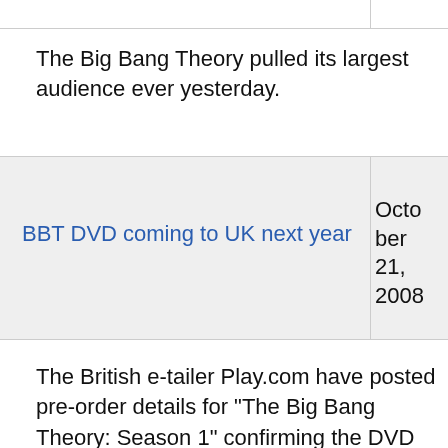The Big Bang Theory pulled its largest audience ever yesterday.
BBT DVD coming to UK next year
October 21, 2008
The British e-tailer Play.com have posted pre-order details for "The Big Bang Theory: Season 1" confirming the DVD will be landing on British shores in the new year. The listing states the 3 disc set will be released on the 12th January 2009.